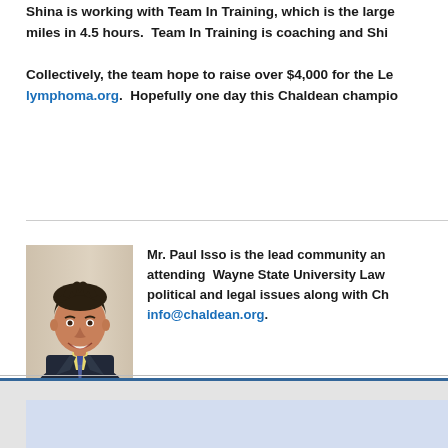Shina is working with Team In Training, which is the large miles in 4.5 hours. Team In Training is coaching and Shi Collectively, the team hope to raise over $4,000 for the Le lymphoma.org. Hopefully one day this Chaldean champio
[Figure (photo): Headshot photo of Mr. Paul Isso, a young man in a dark suit with a yellow tie, smiling]
Mr. Paul Isso is the lead community and attending Wayne State University Law political and legal issues along with Ch info@chaldean.org.
www.CHALDEAN.org Copyright 2000 - 2012, All Rig